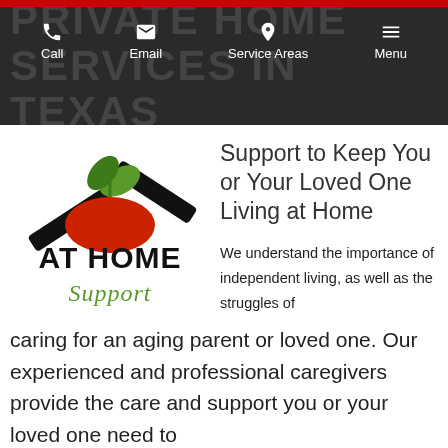PRIVATE HOME SERVICES IN TEXAS — Call | Email | Service Areas | Menu
[Figure (logo): At Home Support logo: house shape in black with a red apple and green leaf, bold text AT HOME SUPPORT in black and green script]
Support to Keep You or Your Loved One Living at Home
We understand the importance of independent living, as well as the struggles of caring for an aging parent or loved one. Our experienced and professional caregivers provide the care and support you or your loved one need to